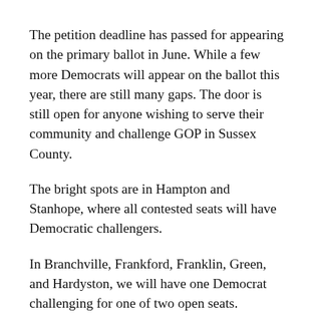The petition deadline has passed for appearing on the primary ballot in June. While a few more Democrats will appear on the ballot this year, there are still many gaps. The door is still open for anyone wishing to serve their community and challenge GOP in Sussex County.
The bright spots are in Hampton and Stanhope, where all contested seats will have Democratic challengers.
In Branchville, Frankford, Franklin, Green, and Hardyston, we will have one Democrat challenging for one of two open seats.
There is still an opportunity to seek a position on your town council by running as a write-in candidate in the June primary. You will need a minimum of twenty-five votes (fifty in Hopatcong), equivalent to that required for the petition.
Byram, Newton, Sparta, and Vernon hold non-partisan